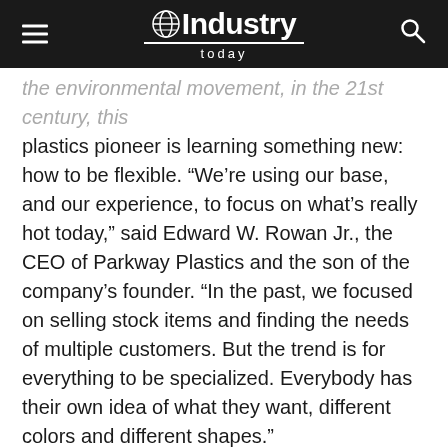Industry Today
the environmental movement, in the 21st century, this plastics pioneer is learning something new: how to be flexible. “We’re using our base, and our experience, to focus on what’s really hot today,” said Edward W. Rowan Jr., the CEO of Parkway Plastics and the son of the company’s founder. “In the past, we focused on selling stock items and finding the needs of multiple customers. But the trend is for everything to be specialized. Everybody has their own idea of what they want, different colors and different shapes.”
That has meant that Parkway Plastics, which has been a fixture in the plastics industry for more than a half-century, needed to shift gears, and so far its efforts paid off. The firm has expanded its efforts in the area of